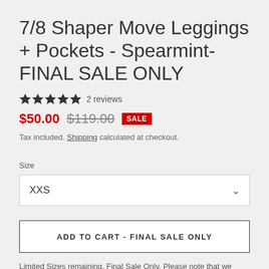7/8 Shaper Move Leggings + Pockets - Spearmint- FINAL SALE ONLY
★★★★★ 2 reviews
$50.00  $119.00  SALE
Tax included. Shipping calculated at checkout.
Size
XXS
ADD TO CART - FINAL SALE ONLY
Limited Sizes remaining, Final Sale Only. Please note that we